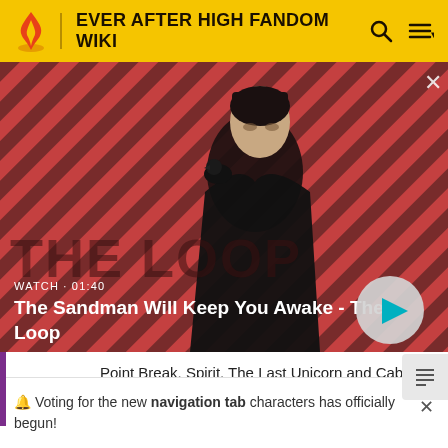EVER AFTER HIGH FANDOM WIKI
[Figure (screenshot): Video thumbnail showing a dark-clothed figure with a black raven on shoulder against a red and dark diagonal striped background. Title 'THE LOOP' visible in background. Watch time: 01:40. Play button visible.]
WATCH · 01:40
The Sandman Will Keep You Awake - The Loop
Point Break, Spirit, The Last Unicorn and Cabin in the Woods.
Adham's birthday is the 30th of November, making
🔔 Voting for the new navigation tab characters has officially begun!